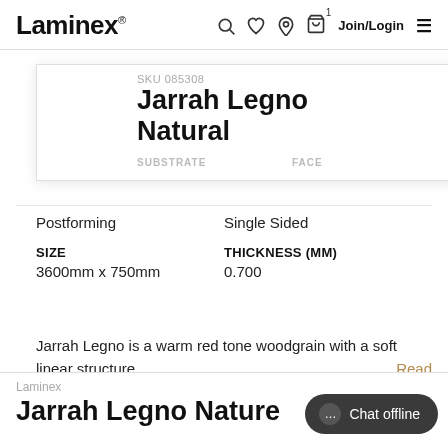Laminex — Join/Login
[Figure (screenshot): Laminex website header with logo, search, wishlist, location, cart (1 item), Join/Login, and hamburger menu icons]
Jarrah Legno Natural
SKU 085308
| SUBSTRATE | FACE |
| --- | --- |
| Postforming | Single Sided |
| SIZE | THICKNESS (MM) |
| --- | --- |
| 3600mm x 750mm | 0.700 |
Jarrah Legno is a warm red tone woodgrain with a soft linear structure ... Read More
Laminex
Jarrah Legno Natur…